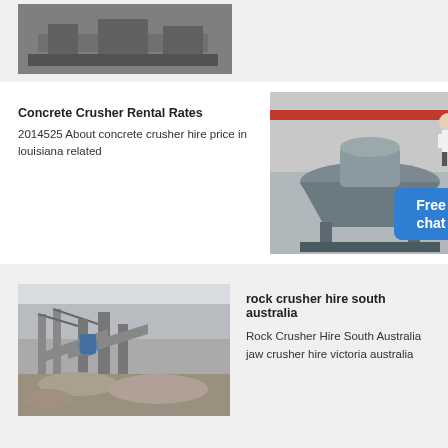[Figure (photo): Industrial machinery/equipment photo, top section]
[Figure (photo): Concrete crusher machine in industrial facility with red overhead crane]
Concrete Crusher Rental Rates
2014525 About concrete crusher hire price in louisiana related
[Figure (photo): Rock crusher site in South Australia with rubble and machinery]
rock crusher hire south australia
Rock Crusher Hire South Australia jaw crusher hire victoria australia